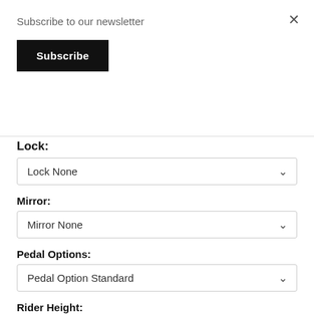Subscribe to our newsletter
Subscribe
×
Lock:
Lock None
Mirror:
Mirror None
Pedal Options:
Pedal Option Standard
Rider Height:
Rider Height Less Than 5'-0"
Rider Weight: